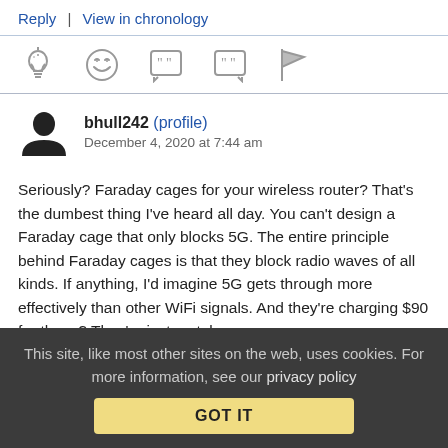Reply | View in chronology
[Figure (infographic): Row of action icons: lightbulb, laughing emoji, open-quote speech bubble, close-quote speech bubble, flag]
bhull242 (profile) December 4, 2020 at 7:44 am
Seriously? Faraday cages for your wireless router? That's the dumbest thing I've heard all day. You can't design a Faraday cage that only blocks 5G. The entire principle behind Faraday cages is that they block radio waves of all kinds. If anything, I'd imagine 5G gets through more effectively than other WiFi signals. And they're charging $90 for these? They're just metal cages.
This site, like most other sites on the web, uses cookies. For more information, see our privacy policy GOT IT